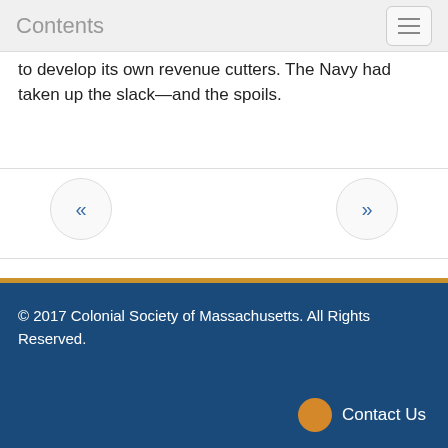Contents
to develop its own revenue cutters. The Navy had taken up the slack—and the spoils.
© 2017 Colonial Society of Massachusetts. All Rights Reserved.